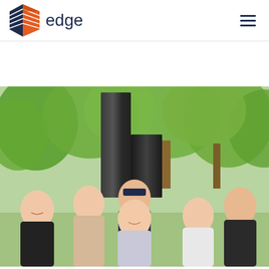[Figure (logo): Edge company logo: geometric hexagon shape in dark navy blue and orange with striped pattern, followed by the word 'edge' in dark navy text]
[Figure (photo): Group photo of approximately 6-7 people (men and women) standing outdoors in front of a large dark stone/marble sculpture and green trees. They are smiling and some wearing company polo shirts.]